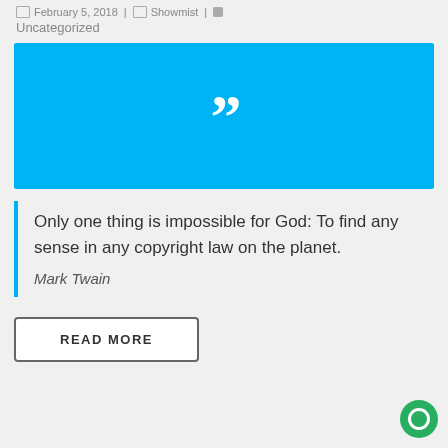February 5, 2018 | Showmist | Uncategorized
[Figure (illustration): Blue rectangle with large white quotation mark icon centered]
Only one thing is impossible for God: To find any sense in any copyright law on the planet.
Mark Twain
READ MORE